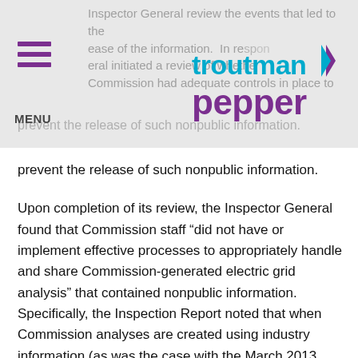Inspector General review the events that led to the release of the information. In re[...] General initiated a review of whethe[...] Commission had adequate controls in place to prevent the release of such nonpublic information.
[Figure (logo): Troutman Pepper law firm logo with teal 'troutman' text and purple 'pepper' text and arrow graphic]
prevent the release of such nonpublic information.
Upon completion of its review, the Inspector General found that Commission staff “did not have or implement effective processes to appropriately handle and share Commission-generated electric grid analysis” that contained nonpublic information. Specifically, the Inspection Report noted that when Commission analyses are created using industry information (as was the case with the March 2013 analysis), the analyses are categorized as critical energy infrastructure information (“CEII”) and must be